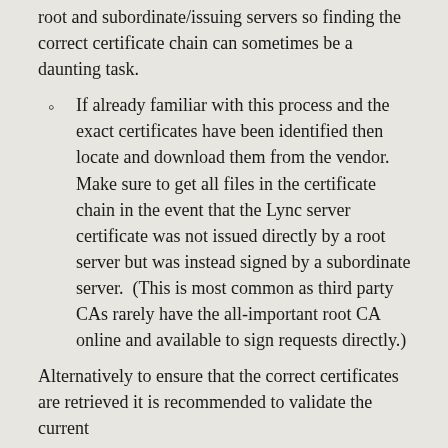root and subordinate/issuing servers so finding the correct certificate chain can sometimes be a daunting task.
If already familiar with this process and the exact certificates have been identified then locate and download them from the vendor. Make sure to get all files in the certificate chain in the event that the Lync server certificate was not issued directly by a root server but was instead signed by a subordinate server. (This is most common as third party CAs rarely have the all-important root CA online and available to sign requests directly.)
Alternatively to ensure that the correct certificates are retrieved it is recommended to validate the current server certificate and then manually export the chain